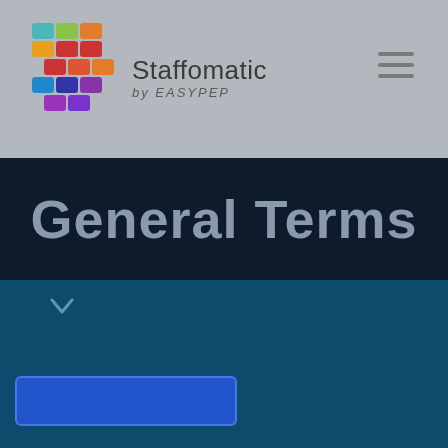Staffomatic by EASYPEP
General Terms
[Figure (other): Blue button/CTA element on dark teal background with a chevron down indicator]